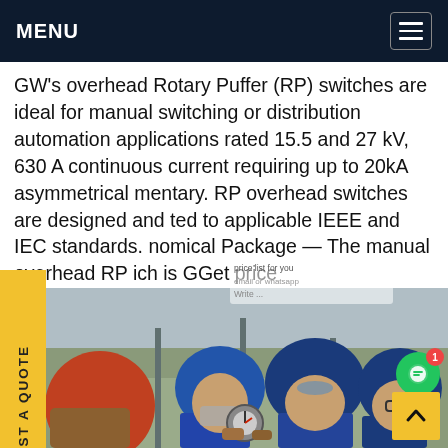MENU
GW's overhead Rotary Puffer (RP) switches are ideal for manual switching or distribution automation applications rated 15.5 and 27 kV, 630 A continuous current requiring up to 20kA asymmetrical momentary. RP overhead switches are designed and tested to applicable IEEE and IEC standards. Economical Package — The manual overhead RP switch is GGet price
[Figure (photo): Workers in blue hard hats and work clothing working on electrical equipment at an outdoor facility. One worker in orange/red hard hat visible in foreground.]